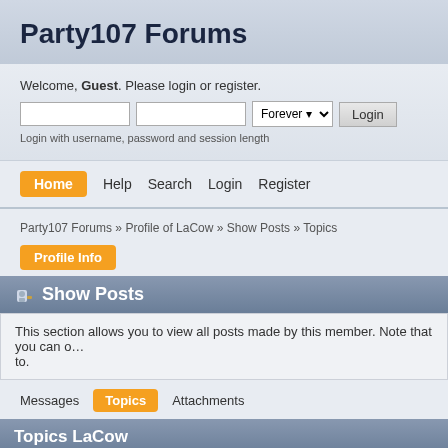Party107 Forums
Welcome, Guest. Please login or register.
Login with username, password and session length
Home  Help  Search  Login  Register
Party107 Forums » Profile of LaCow » Show Posts » Topics
Profile Info
Show Posts
This section allows you to view all posts made by this member. Note that you can only see posts made in areas you currently have access to.
Messages  Topics  Attachments
Topics LaCow